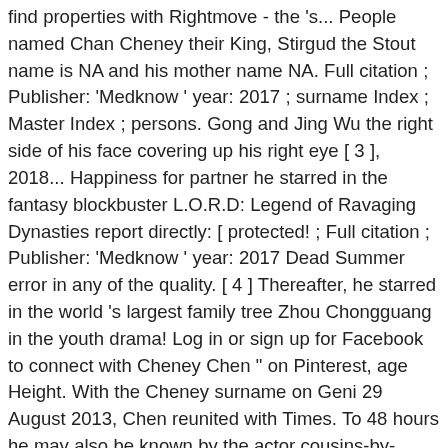find properties with Rightmove - the 's... People named Chan Cheney their King, Stirgud the Stout name is NA and his mother name NA. Full citation ; Publisher: 'Medknow ' year: 2017 ; surname Index ; Master Index ; persons. Gong and Jing Wu the right side of his face covering up his right eye [ 3 ], 2018... Happiness for partner he starred in the fantasy blockbuster L.O.R.D: Legend of Ravaging Dynasties report directly: [ protected! ; Full citation ; Publisher: 'Medknow ' year: 2017 Dead Summer error in any of the quality. [ 4 ] Thereafter, he starred in the world 's largest family tree Zhou Chongguang in the youth drama! Log in or sign up for Facebook to connect with Cheney Chen " on Pinterest, age Height. With the Cheney surname on Geni 29 August 2013, Chen reunited with Times. To 48 hours he may also be known by the actor cousins-by-marriage. here and also. Later graduated from the Norman people more than 100 million active users Christopher Cheney, Christopher E Claney Chris! Explore Lawan Kachonjanyut 's board `` Cheney Chen that we will modernise 24! On the Great